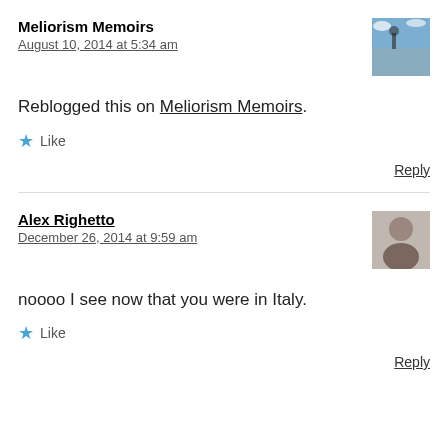Meliorism Memoirs
August 10, 2014 at 5:34 am
Reblogged this on Meliorism Memoirs.
Like
Reply
Alex Righetto
December 26, 2014 at 9:59 am
noooo I see now that you were in Italy.
Like
Reply